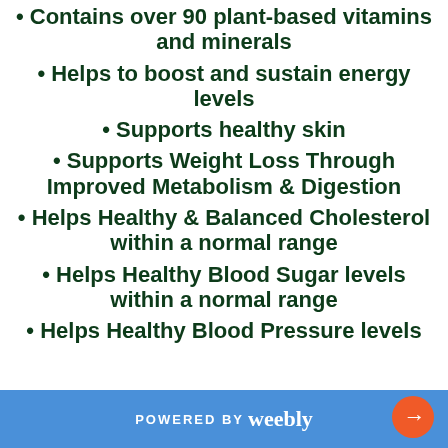Contains over 90 plant-based vitamins and minerals
Helps to boost and sustain energy levels
Supports healthy skin
Supports Weight Loss Through Improved Metabolism & Digestion
Helps Healthy & Balanced Cholesterol within a normal range
Helps Healthy Blood Sugar levels within a normal range
Helps Healthy Blood Pressure levels
POWERED BY weebly